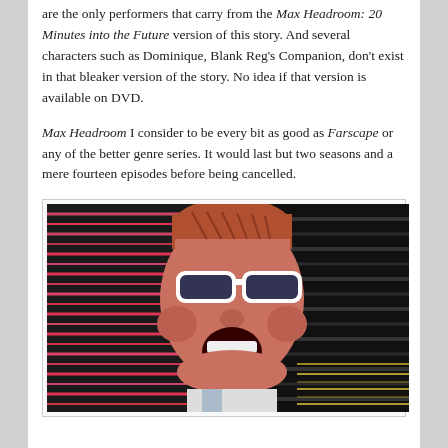are the only performers that carry from the Max Headroom: 20 Minutes into the Future version of this story. And several characters such as Dominique, Blank Reg's Companion, don't exist in that bleaker version of the story. No idea if that version is available on DVD.
Max Headroom I consider to be every bit as good as Farscape or any of the better genre series. It would last but two seasons and a mere fourteen episodes before being cancelled.
[Figure (photo): A still image of the Max Headroom character — a digitally stylized figure with slicked-back orange/tan hair, white sunglasses, and an open mouth as if talking, against a background of pink/red and dark horizontal lines.]